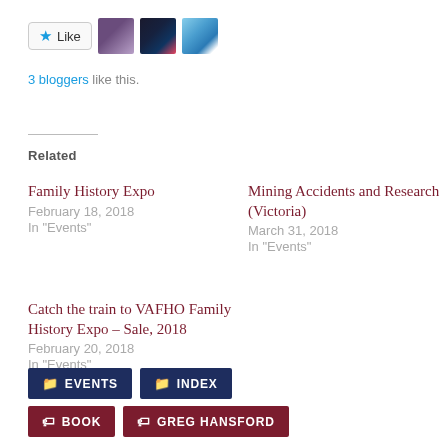[Figure (other): Like button with star icon and three blogger avatar thumbnails]
3 bloggers like this.
Related
Family History Expo
February 18, 2018
In "Events"
Mining Accidents and Research (Victoria)
March 31, 2018
In "Events"
Catch the train to VAFHO Family History Expo – Sale, 2018
February 20, 2018
In "Events"
EVENTS  INDEX
BOOK  GREG HANSFORD